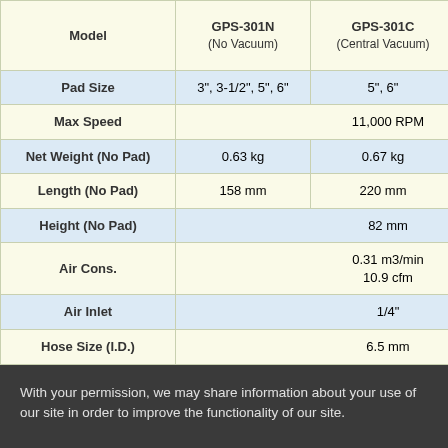| Model | GPS-301N (No Vacuum) | GPS-301C (Central Vacuum) | GPS-... (Self-Ge... Vacu...) |
| --- | --- | --- | --- |
| Pad Size | 3", 3-1/2", 5", 6" | 5", 6" | 5",... |
| Max Speed | 11,000 RPM | 11,000 RPM | 11,000 RPM |
| Net Weight (No Pad) | 0.63 kg | 0.67 kg | 0.6... |
| Length (No Pad) | 158 mm | 220 mm | 210... |
| Height (No Pad) | 82 mm | 82 mm | 82 mm |
| Air Cons. | 0.31 m3/min
10.9 cfm | 0.31 m3/min
10.9 cfm | 0.31 m3/min
10.9 cfm |
| Air Inlet | 1/4" | 1/4" | 1/4" |
| Hose Size (I.D.) | 6.5 mm | 6.5 mm | 6.5 mm |
With your permission, we may share information about your use of our site in order to improve the functionality of our site.